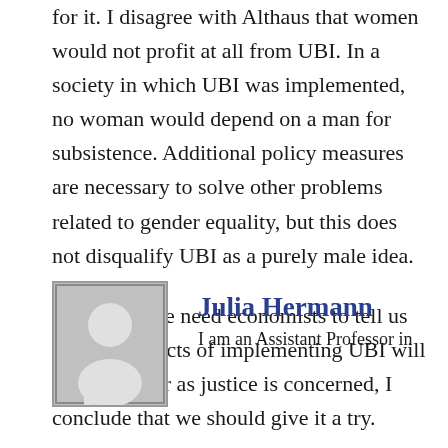for it. I disagree with Althaus that women would not profit at all from UBI. In a society in which UBI was implemented, no woman would depend on a man for subsistence. Additional policy measures are necessary to solve other problems related to gender equality, but this does not disqualify UBI as a purely male idea.
Of course, we need economists to tell us what the effects of implementing UBI will be, but, as far as justice is concerned, I conclude that we should give it a try.
[Figure (photo): Author profile photo placeholder showing a generic grey silhouette of a person on a grey background]
Julia Hermann
I am an Assistant Professor in